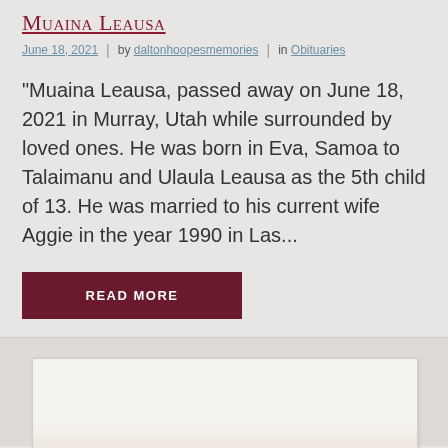Muaina Leausa
June 18, 2021  |  by daltonhoopesmemories  |  in Obituaries
“Muaina Leausa, passed away on June 18, 2021 in Murray, Utah while surrounded by loved ones. He was born in Eva, Samoa to Talaimanu and Ulaula Leausa as the 5th child of 13. He was married to his current wife Aggie in the year 1990 in Las...
READ MORE
[Figure (photo): A light-colored image card placeholder in the bottom section of the page, showing a faint gradient from off-white to warm beige.]